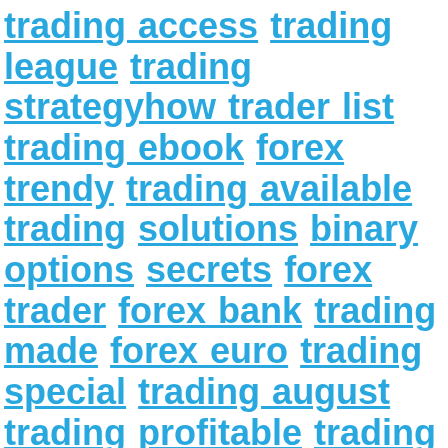trading access trading league trading strategyhow trader list trading ebook forex trendy trading available trading solutions binary options secrets forex trader forex bank trading made forex euro trading special trading august trading profitable trading tipp trading setup trading from trading negative trading analysis forex clients trading contracts trading leader trader buys forex indicators trading heavy trader looking trading days trading revolution trading around binary options business trading tanpa trader update trading fair forex